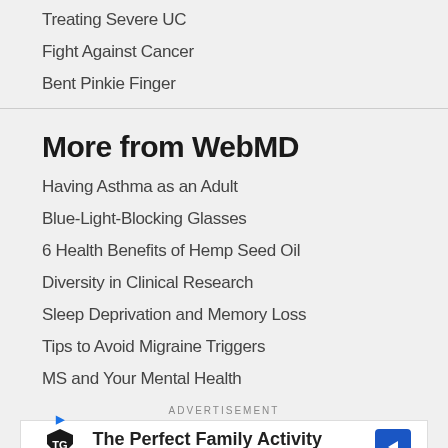Treating Severe UC
Fight Against Cancer
Bent Pinkie Finger
More from WebMD
Having Asthma as an Adult
Blue-Light-Blocking Glasses
6 Health Benefits of Hemp Seed Oil
Diversity in Clinical Research
Sleep Deprivation and Memory Loss
Tips to Avoid Migraine Triggers
MS and Your Mental Health
ADVERTISEMENT
[Figure (other): Topgolf advertisement banner: The Perfect Family Activity]